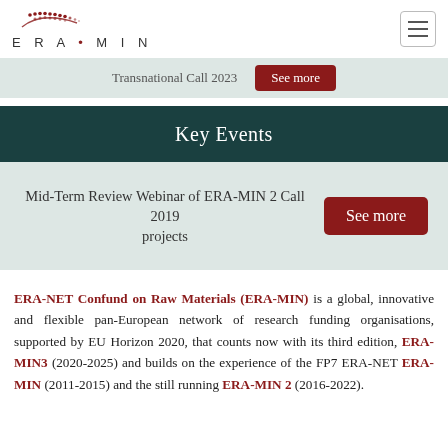ERA-MIN logo and navigation
Transnational Call 2023  See more
Key Events
Mid-Term Review Webinar of ERA-MIN 2 Call 2019 projects  See more
ERA-NET Confund on Raw Materials (ERA-MIN) is a global, innovative and flexible pan-European network of research funding organisations, supported by EU Horizon 2020, that counts now with its third edition, ERA-MIN3 (2020-2025) and builds on the experience of the FP7 ERA-NET ERA-MIN (2011-2015) and the still running ERA-MIN 2 (2016-2022).